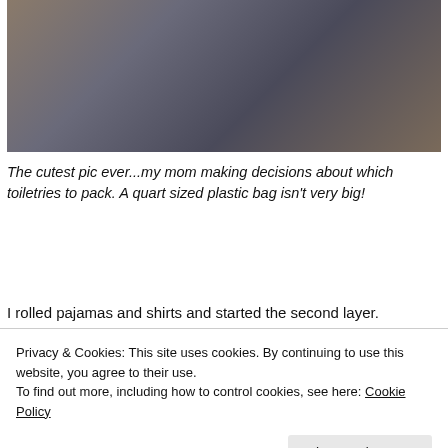[Figure (photo): Photo of an elderly woman's hands sorting through toiletry items on a dark fabric surface, including bottles, tubes, and small containers.]
The cutest pic ever...my mom making decisions about which toiletries to pack. A quart sized plastic bag isn't very big!
I rolled pajamas and shirts and started the second layer.
Privacy & Cookies: This site uses cookies. By continuing to use this website, you agree to their use.
To find out more, including how to control cookies, see here: Cookie Policy
the rolled clothes snugly together.